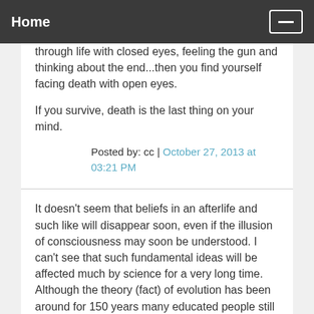Home
through life with closed eyes, feeling the gun and thinking about the end...then you find yourself facing death with open eyes.
If you survive, death is the last thing on your mind.
Posted by: cc | October 27, 2013 at 03:21 PM
It doesn't seem that beliefs in an afterlife and such like will disappear soon, even if the illusion of consciousness may soon be understood. I can't see that such fundamental ideas will be affected much by science for a very long time. Although the theory (fact) of evolution has been around for 150 years many educated people still reject it in favour of religious beliefs.
I am mindful of those young men and women, often well educated, who martyr themselves – and are apparently quite happy to do it? The reason given is that they are